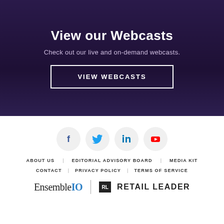View our Webcasts
Check out our live and on-demand webcasts.
VIEW WEBCASTS
[Figure (infographic): Row of four social media icon circles: Facebook (blue), Twitter (blue bird), LinkedIn (blue), YouTube (red)]
ABOUT US   EDITORIAL ADVISORY BOARD   MEDIA KIT
CONTACT   PRIVACY POLICY   TERMS OF SERVICE
[Figure (logo): EnsembleIQ logo and Retail Leader logo side by side]